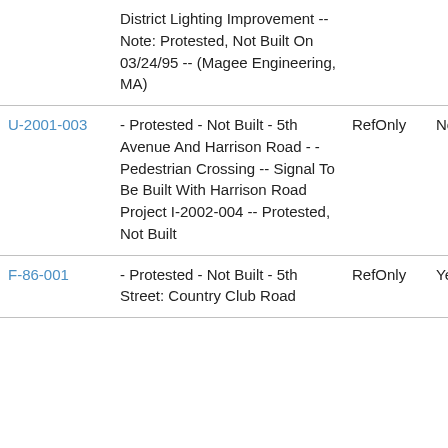| ID | Description | Type | Flag |
| --- | --- | --- | --- |
|  | District Lighting Improvement -- Note: Protested, Not Built On 03/24/95 -- (Magee Engineering, MA) |  |  |
| U-2001-003 | - Protested - Not Built - 5th Avenue And Harrison Road - - Pedestrian Crossing -- Signal To Be Built With Harrison Road Project I-2002-004 -- Protested, Not Built | RefOnly | No |
| F-86-001 | - Protested - Not Built - 5th Street: Country Club Road | RefOnly | Yes |